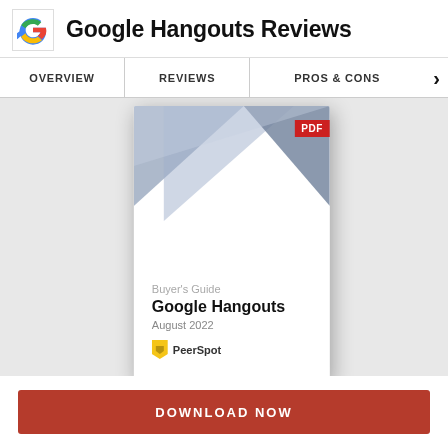Google Hangouts Reviews
OVERVIEW | REVIEWS | PROS & CONS
[Figure (screenshot): Preview of a PDF Buyer's Guide document for Google Hangouts, August 2022, published by PeerSpot. The cover shows geometric blue-grey triangle shapes at the top and includes the text: Buyer's Guide, Google Hangouts, August 2022, with the PeerSpot logo.]
DOWNLOAD NOW